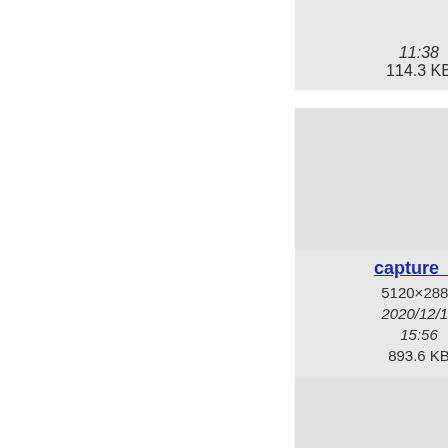[Figure (screenshot): File browser thumbnail grid showing image files. Top row (partial): two tiles visible on the right side. First tile shows '11:38' and '114.3 KB'. Second tile (partially cut) shows '11:' and '631.'. Middle row: two tiles. Left tile shows 'capture_...' link, '5120×2880', '2020/12/17', '15:56', '893.6 KB'. Right tile (partially cut) shows 'captu...' link, '1782', '2021/', '18', '879.'. Bottom row: two tiles. Left tile shows 'capture_...' link, '347×510', '2020/12/15', '11:59'. Right tile (partially cut) shows 'carte' link, '2020', '8 2.'.]